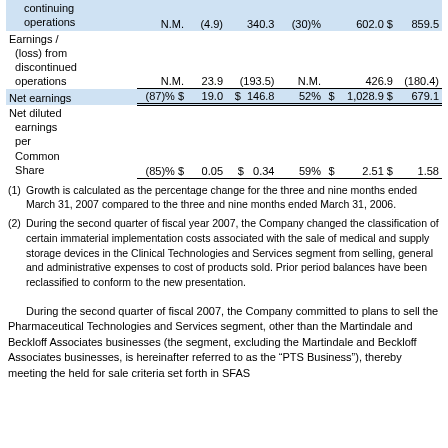|  | Growth | Three Months Q1 | Three Months Q2 | Growth | Nine Months Q1 | Nine Months Q2 |
| --- | --- | --- | --- | --- | --- | --- |
| continuing operations | N.M. | (4.9) | 340.3 | (30)% | 602.0 $ | 859.5 |
| Earnings / (loss) from discontinued operations | N.M. | 23.9 | (193.5) | N.M. | 426.9 | (180.4) |
| Net earnings | (87)% $ | 19.0 | $ 146.8 | 52% | $ 1,028.9 | $ 679.1 |
| Net diluted earnings per Common Share | (85)% $ | 0.05 | $ 0.34 | 59% $ | 2.51 | $ 1.58 |
(1) Growth is calculated as the percentage change for the three and nine months ended March 31, 2007 compared to the three and nine months ended March 31, 2006.
(2) During the second quarter of fiscal year 2007, the Company changed the classification of certain immaterial implementation costs associated with the sale of medical and supply storage devices in the Clinical Technologies and Services segment from selling, general and administrative expenses to cost of products sold. Prior period balances have been reclassified to conform to the new presentation.
During the second quarter of fiscal 2007, the Company committed to plans to sell the Pharmaceutical Technologies and Services segment, other than the Martindale and Beckloff Associates businesses (the segment, excluding the Martindale and Beckloff Associates businesses, is hereinafter referred to as the "PTS Business"), thereby meeting the held for sale criteria set forth in SFAS